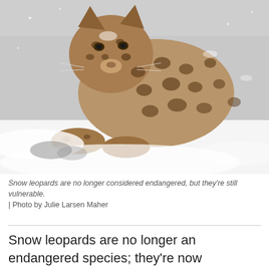[Figure (photo): A snow leopard with tan and black spotted fur sitting in snow, looking slightly to the left. Snow is visible in the background and on the ground.]
Snow leopards are no longer considered endangered, but they're still vulnerable. | Photo by Julie Larsen Maher
Snow leopards are no longer an endangered species; they're now considered “vulnerable” to extinction. But scientists caution that the big cats